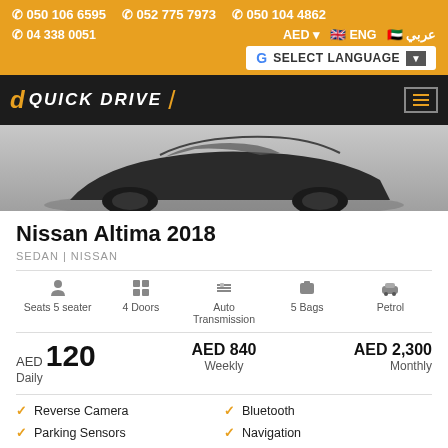050 106 6595  052 775 7973  050 104 4862  04 338 0051  AED  ENG  عربي
[Figure (logo): Quick Drive car rental logo with hamburger menu on dark navbar]
[Figure (photo): Nissan Altima 2018 car photo - rear view of dark colored sedan]
Nissan Altima 2018
SEDAN | NISSAN
Seats 5 seater  4 Doors  Auto Transmission  5 Bags  Petrol
AED 120 Daily  AED 840 Weekly  AED 2,300 Monthly
Reverse Camera
Parking Sensors
AUX
Bluetooth
Navigation
Cruise Control